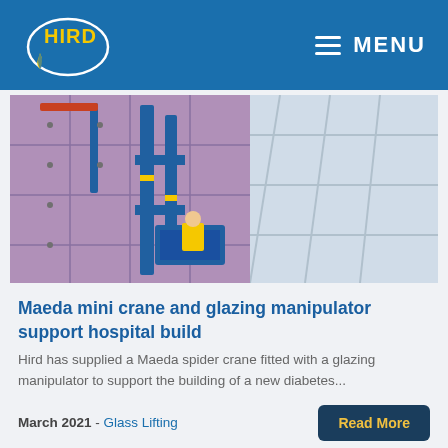HIRD — MENU
[Figure (photo): Construction worker on a blue aerial lift platform installing insulation panels on a building facade with glass curtain wall in background]
Maeda mini crane and glazing manipulator support hospital build
Hird has supplied a Maeda spider crane fitted with a glazing manipulator to support the building of a new diabetes...
March 2021 - Glass Lifting
Read More